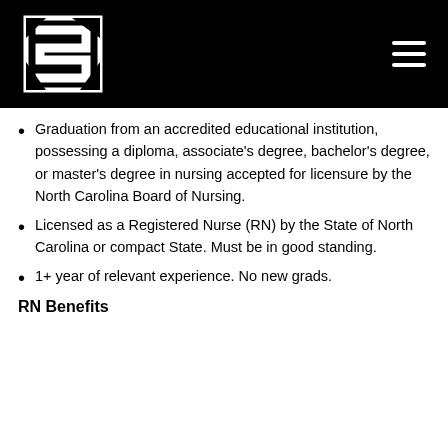Logo and navigation header
Graduation from an accredited educational institution, possessing a diploma, associate's degree, bachelor's degree, or master's degree in nursing accepted for licensure by the North Carolina Board of Nursing.
Licensed as a Registered Nurse (RN) by the State of North Carolina or compact State. Must be in good standing.
1+ year of relevant experience. No new grads.
RN Benefits